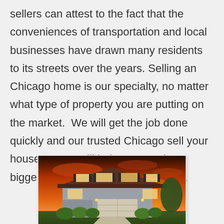sellers can attest to the fact that the conveniences of transportation and local businesses have drawn many residents to its streets over the years. Selling an Chicago home is our specialty, no matter what type of property you are putting on the market. We will get the job done quickly and our trusted Chicago sell your house agents will help you get the biggest return on your biggest asset.
[Figure (photo): A two-story residential house photographed at sunset with an orange and red sky. The house has a white/grey exterior, garage, and green shrubs in front.]